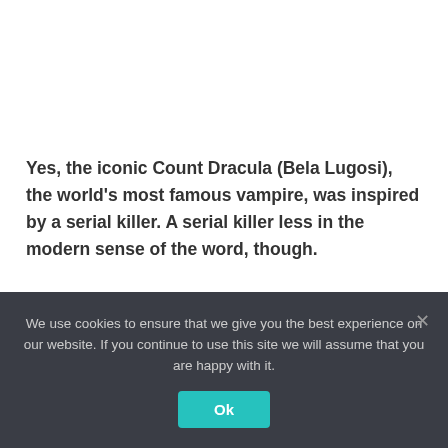Yes, the iconic Count Dracula (Bela Lugosi), the world's most famous vampire, was inspired by a serial killer. A serial killer less in the modern sense of the word, though.
RELATED: 7 Movies Based On Classic Gothic Fiction Novels.
We use cookies to ensure that we give you the best experience on our website. If you continue to use this site we will assume that you are happy with it.